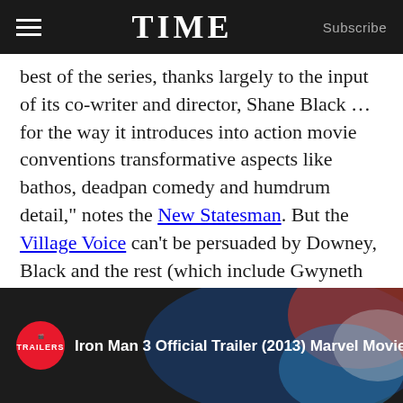TIME — Subscribe
best of the series, thanks largely to the input of its co-writer and director, Shane Black … for the way it introduces into action movie conventions transformative aspects like bathos, deadpan comedy and humdrum detail," notes the New Statesman. But the Village Voice can't be persuaded by Downey, Black and the rest (which include Gwyneth Paltrow and Guy Pearce): "The big problems with Iron Man 3 are less specific to the movie itself than they are characteristic of the hypermalaise that's infected so many current mega-blockbusters — too much plot, too much action, too many characters, too many pseudo-feelings."
[Figure (screenshot): Video thumbnail for Iron Man 3 Official Trailer (2013) Marvel Movie HD with a red Trailers badge on a dark background]